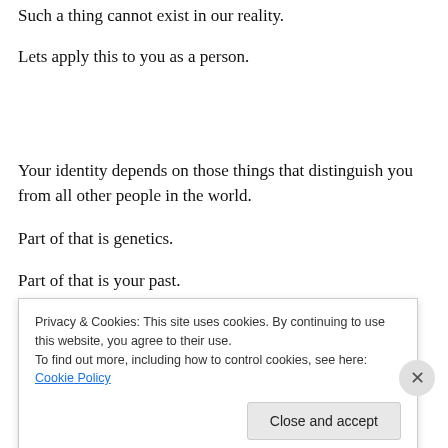Such a thing cannot exist in our reality.
Lets apply this to you as a person.
Your identity depends on those things that distinguish you from all other people in the world.
Part of that is genetics.
Part of that is your past.
Privacy & Cookies: This site uses cookies. By continuing to use this website, you agree to their use.
To find out more, including how to control cookies, see here: Cookie Policy